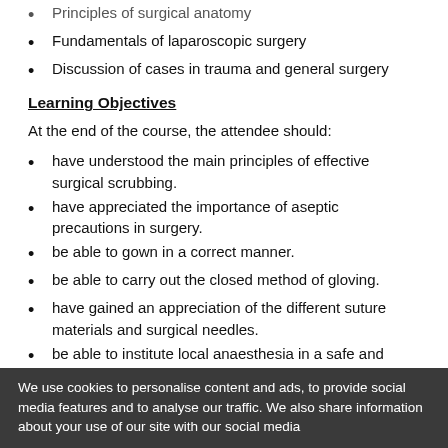Principles of surgical anatomy
Fundamentals of laparoscopic surgery
Discussion of cases in trauma and general surgery
Learning Objectives
At the end of the course, the attendee should:
have understood the main principles of effective surgical scrubbing.
have appreciated the importance of aseptic precautions in surgery.
be able to gown in a correct manner.
be able to carry out the closed method of gloving.
have gained an appreciation of the different suture materials and surgical needles.
be able to institute local anaesthesia in a safe and efficient manner.
be able to handle surgical instruments correctly and dispose the sharps safely.
We use cookies to personalise content and ads, to provide social media features and to analyse our traffic. We also share information about your use of our site with our social media